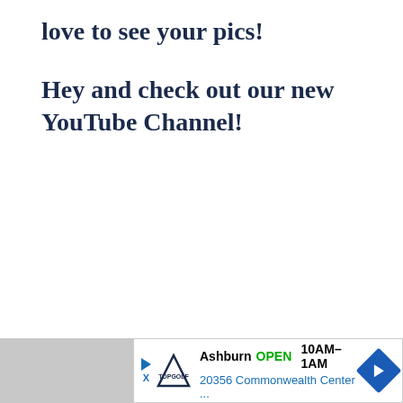love to see your pics!
Hey and check out our new YouTube Channel!
[Figure (screenshot): Advertisement banner: Topgolf Ashburn OPEN 10AM-1AM, 20356 Commonwealth Center...]